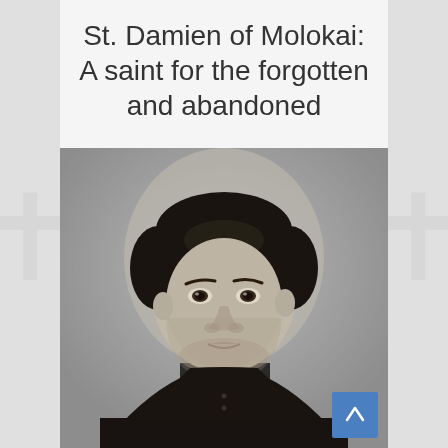St. Damien of Molokai: A saint for the forgotten and abandoned
[Figure (photo): Black and white historical portrait photograph of St. Damien of Molokai, a young priest with dark hair, wearing dark clerical clothing, looking slightly to the side with an intense gaze.]